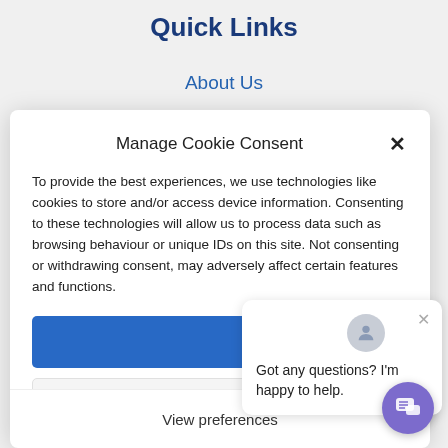Quick Links
About Us
Manage Cookie Consent
To provide the best experiences, we use technologies like cookies to store and/or access device information. Consenting to these technologies will allow us to process data such as browsing behaviour or unique IDs on this site. Not consenting or withdrawing consent, may adversely affect certain features and functions.
[Figure (screenshot): Blue accept/confirm button (partial, text not visible)]
[Figure (screenshot): Chat popup with avatar icon and text: Got any questions? I'm happy to help.]
View preferences
[Figure (screenshot): Purple circular chat FAB button with speech bubble icon]